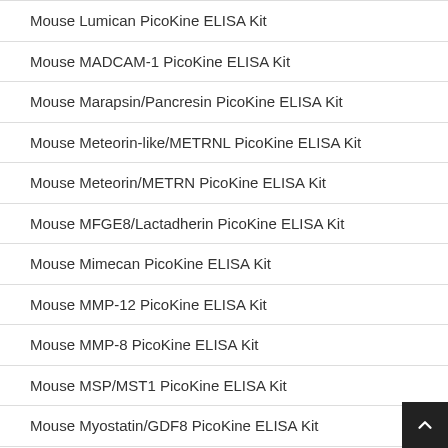Mouse Lumican PicoKine ELISA Kit
Mouse MADCAM-1 PicoKine ELISA Kit
Mouse Marapsin/Pancresin PicoKine ELISA Kit
Mouse Meteorin-like/METRNL PicoKine ELISA Kit
Mouse Meteorin/METRN PicoKine ELISA Kit
Mouse MFGE8/Lactadherin PicoKine ELISA Kit
Mouse Mimecan PicoKine ELISA Kit
Mouse MMP-12 PicoKine ELISA Kit
Mouse MMP-8 PicoKine ELISA Kit
Mouse MSP/MST1 PicoKine ELISA Kit
Mouse Myostatin/GDF8 PicoKine ELISA Kit
Mouse Neuropilin-1 PicoKine ELISA Kit
Mouse Neuropilin-2 PicoKine ELISA Kit
Mouse NOPE/IGDCC4 PicoKine ELISA Kit